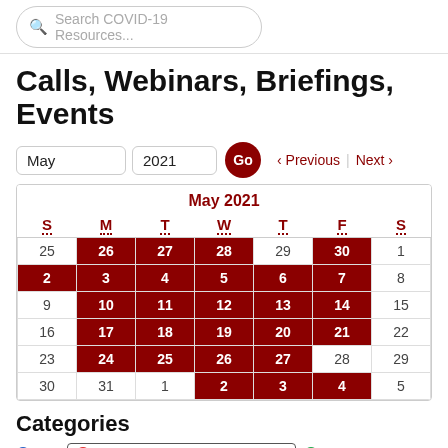Search COVID-19 Resources...
Calls, Webinars, Briefings, Events
May 2021 Go < Previous Next >
[Figure (other): Calendar for May 2021 showing event days highlighted in dark red. Days with events: Apr 26,27,28,30; May 2,3,4,5,6,7; May 10,11,12,13,14; May 17,18,19,20,21; May 24,25,26,27; Jun 2,3,4]
Categories
Call   Consultation/Listening Session   Other